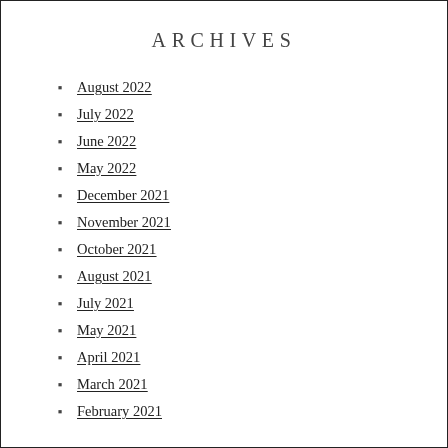ARCHIVES
August 2022
July 2022
June 2022
May 2022
December 2021
November 2021
October 2021
August 2021
July 2021
May 2021
April 2021
March 2021
February 2021